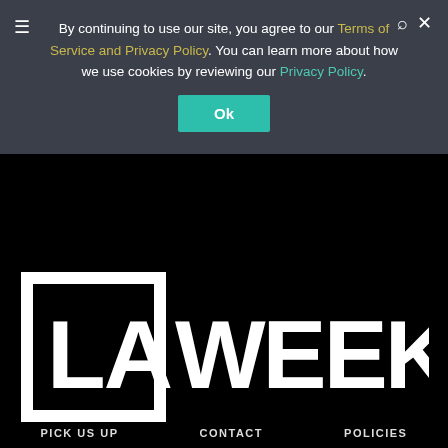By continuing to use our site, you agree to our Terms of Service and Privacy Policy. You can learn more about how we use cookies by reviewing our Privacy Policy.
Ok
[Figure (logo): LA Weekly logo — white bold sans-serif text 'LAWEEKLY' with a square bracket graphic enclosing 'LA' on a black background]
PICK US UP    CONTACT    POLICIES